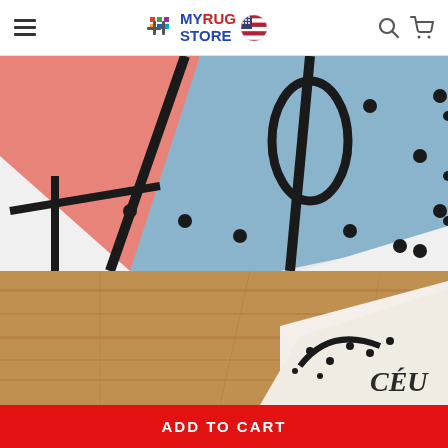MYRUG STORE
[Figure (photo): Close-up of a geometric rug with pink, blue, white sections and black lines, dots pattern on light background]
[Figure (photo): Photo of rug placed on wooden floor with partial text visible showing script letters on white/cream rug]
ADD TO CART